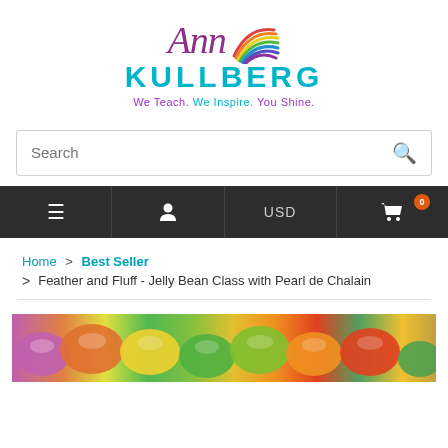[Figure (logo): Ann Kullberg logo with colorful swish, purple cursive 'Ann' text, teal bold 'KULLBERG' text, and purple tagline 'We Teach. We Inspire. You Shine.']
Search
USD | Home | User | Cart (0)
Home > Best Seller
> Feather and Fluff - Jelly Bean Class with Pearl de Chalain
[Figure (photo): Colorful jelly beans photo at bottom of page]